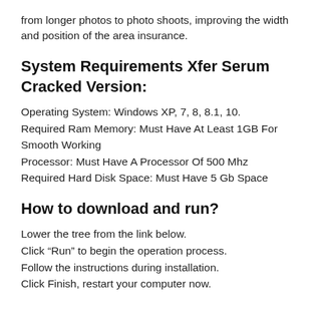from longer photos to photo shoots, improving the width and position of the area insurance.
System Requirements Xfer Serum Cracked Version:
Operating System: Windows XP, 7, 8, 8.1, 10.
Required Ram Memory: Must Have At Least 1GB For Smooth Working
Processor: Must Have A Processor Of 500 Mhz
Required Hard Disk Space: Must Have 5 Gb Space
How to download and run?
Lower the tree from the link below.
Click “Run” to begin the operation process.
Follow the instructions during installation.
Click Finish, restart your computer now.